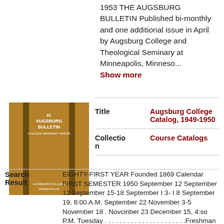1953 THE AUGSBURG BULLETIN Published bi-monthly and one additional issue in April by Augsburg College and Theological Seminary at Minneapolis, Minneso... Show more
[Figure (photo): Cover of the 81 Augsburg Bulletin college catalog, brown/tan colored book cover]
| Field | Value |
| --- | --- |
| Title | Augsburg College Catalog, 1949-1950 |
| Collection | Course Catalogs |
EIGHTY-FIRST YEAR Founded 1869 Calendar FIRST SEMESTER 1950 September 12 September 12 September 15-18 September I 3- I 8 September 19, 8:00 A.M. September 22 November 3-5 November 18 . Novcinber 23 December 15, 4:so P.M. Tuesday . . . . . . . . . . . . . . . . . . . . .Freshman Tests T ... Show more